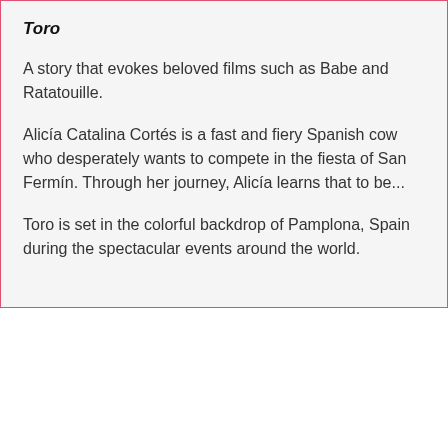Toro
A story that evokes beloved films such as Babe and Ratatouille.
Alicía Catalina Cortés is a fast and fiery Spanish cow who desperately wants to compete in the fiesta of San Fermín. Through her journey, Alicía learns that to be...
Toro is set in the colorful backdrop of Pamplona, Spain during the spectacular events around the world.
[Figure (screenshot): Video thumbnail with avatar of a man with glasses and dark hair, text reading 'TORO by Andrew Avner | Inside the Audiobook' on a black background, with a scroll-up button in the bottom right corner.]